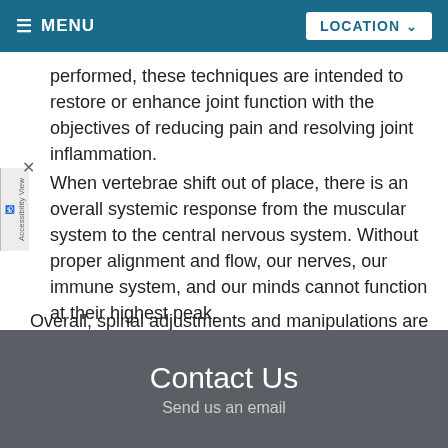MENU  LOCATION
performed, these techniques are intended to restore or enhance joint function with the objectives of reducing pain and resolving joint inflammation.
When vertebrae shift out of place, there is an overall systemic response from the muscular system to the central nervous system. Without proper alignment and flow, our nerves, our immune system, and our minds cannot function at their highest peak.
Overall, spinal adjustments and manipulations are an excellent way to keep the body functioning at its highest level without any discomfort. When the body is adequately aligned, it becomes able to respond and perform as it was built to do.
Contact Us
Send us an email